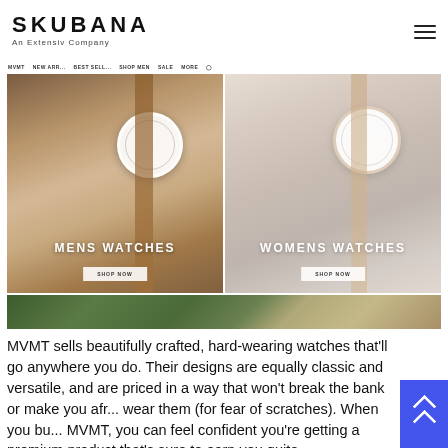SKUBANA
An Extensiv Company
[Figure (screenshot): MVMT watches website screenshot showing two panels: MENS WATCHES and WOMENS WATCHES with SHOP NOW buttons, plus a partial third image strip at bottom]
MVMT sells beautifully crafted, hard-wearing watches that'll go anywhere you do. Their designs are equally classic and versatile, and are priced in a way that won't break the bank or make you afr... wear them (for fear of scratches). When you bu... MVMT, you can feel confident you're getting a premium product that's sure to earn you quite...